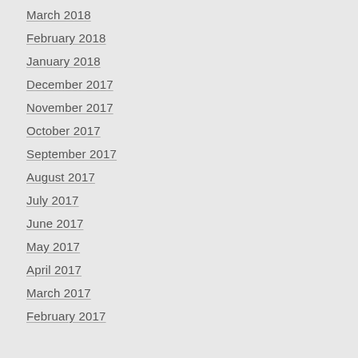March 2018
February 2018
January 2018
December 2017
November 2017
October 2017
September 2017
August 2017
July 2017
June 2017
May 2017
April 2017
March 2017
February 2017